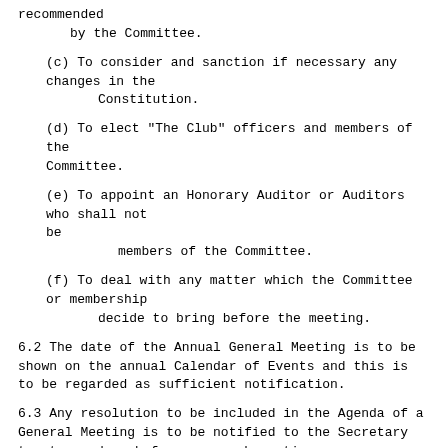recommended
        by the Committee.
(c) To consider and sanction if necessary any changes in the
        Constitution.
(d) To elect "The Club" officers and members of the Committee.
(e) To appoint an Honorary Auditor or Auditors who shall not be
             members of the Committee.
(f) To deal with any matter which the Committee or membership
        decide to bring before the meeting.
6.2 The date of the Annual General Meeting is to be shown on the annual Calendar of Events and this is to be regarded as sufficient notification.
6.3 Any resolution to be included in the Agenda of a General Meeting is to be notified to the Secretary twentyone days before any such meeting.
6.4 The Agenda of the Annual General Meeting shall be published to members not less than six days before the date of the meeting.
6.5 Any resolution may be discussed and voted on at any General Meeting, whether on the Agenda or not, provided the following conditions are met:
(a) The resolution is properly proposed and seconded.
(b) The majority of members present assent to the discussion of
        the motion.